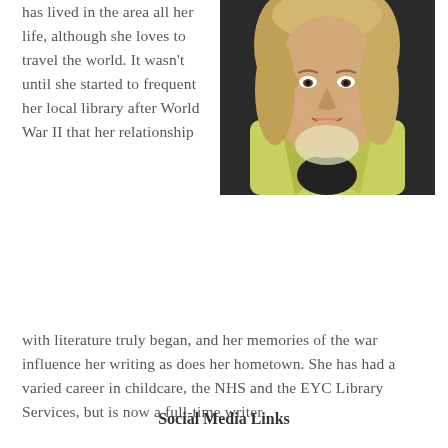has lived in the area all her life, although she loves to travel the world. It wasn't until she started to frequent her local library after World War II that her relationship with literature truly began, and her memories of the war influence her writing as does her hometown. She has had a varied career in childcare, the NHS and the EYC Library Services, but is now a full-time writer.
[Figure (photo): Portrait photo of a smiling older woman with blonde hair, wearing a yellow/lime jacket and a light scarf, against a dark background.]
Social Media Links